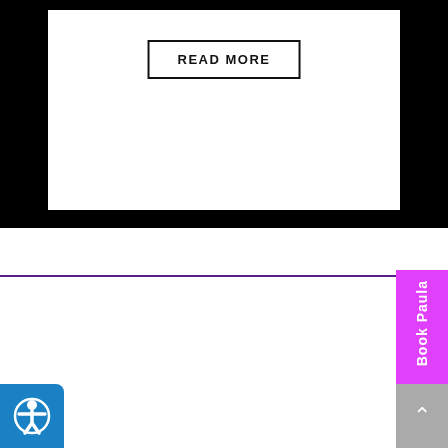[Figure (screenshot): White card on black background with a bordered 'READ MORE' button centered inside the card]
HOW PAULA CAN HELP
PGE Consulting Group Methodology
[Figure (other): Magenta 'Book Paula' sidebar tab with chat bubble icon, rotated vertically on the right side]
HE SOLUTION
[Figure (other): Blue accessibility icon button in bottom-left corner]
[Figure (other): Gray scroll-to-top button with upward caret in bottom-right corner]